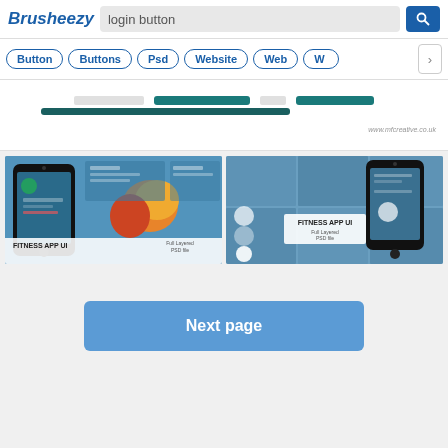Brusheezy — search: login button
Button
Buttons
Psd
Website
Web
[Figure (screenshot): Preview of a login button PSD resource showing teal/dark buttons and www.mfcreative.co.uk watermark]
[Figure (screenshot): Fitness App UI thumbnail left — smartphone mockup with colorful app screen, fruits, blue UI panels, label: FITNESS APP UI, Full Layered PSD file]
[Figure (screenshot): Fitness App UI thumbnail right — smartphone on blue UI panel grid, label: FITNESS APP UI, Full Layered PSD file]
Next page